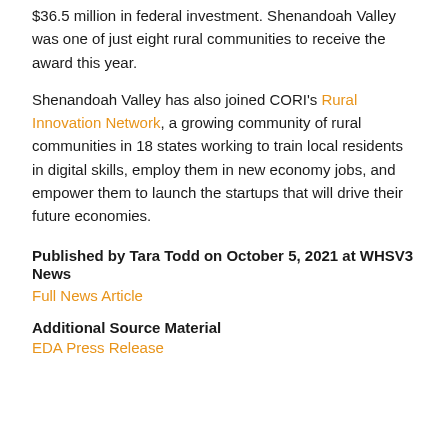$36.5 million in federal investment. Shenandoah Valley was one of just eight rural communities to receive the award this year.
Shenandoah Valley has also joined CORI's Rural Innovation Network, a growing community of rural communities in 18 states working to train local residents in digital skills, employ them in new economy jobs, and empower them to launch the startups that will drive their future economies.
Published by Tara Todd on October 5, 2021 at WHSV3 News
Full News Article
Additional Source Material
EDA Press Release